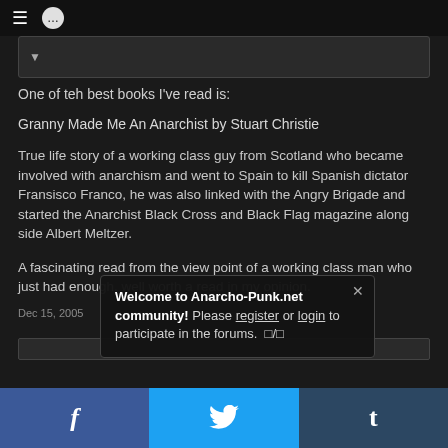≡  💬
One of teh best books I've read is:
Granny Made Me An Anarchist by Stuart Christie
True life story of a working class guy from Scotland who became involved with anarchism and went to Spain to kill Spanish dictator Fransisco Franco, he was also linked with the Angry Brigade and started the Anarchist Black Cross and Black Flag magazine along side Albert Meltzer.
A fascinating read from the view point of a working class man who just had enough, well worth a read in my opinion.
Dec 15, 2005
Welcome to Anarcho-Punk.net community! Please register or login to participate in the forums.
f  🐦  t